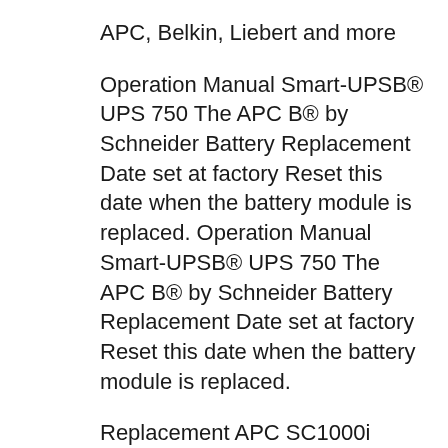APC, Belkin, Liebert and more
Operation Manual Smart-UPSB® UPS 750 The APC B® by Schneider Battery Replacement Date set at factory Reset this date when the battery module is replaced. Operation Manual Smart-UPSB® UPS 750 The APC B® by Schneider Battery Replacement Date set at factory Reset this date when the battery module is replaced.
Replacement APC SC1000i battery pack, Replacement APC Smart-UPS SC 1500 battery pack, set of 4 rechargeable sealed non spillable batteries for APC SC1500i, Find great deals on eBay for APC Smart UPS 1500 Battery in